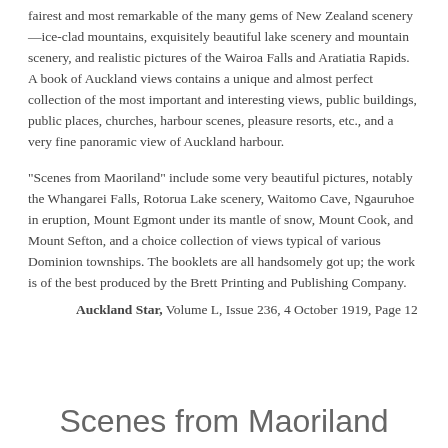fairest and most remarkable of the many gems of New Zealand scenery—ice-clad mountains, exquisitely beautiful lake scenery and mountain scenery, and realistic pictures of the Wairoa Falls and Aratiatia Rapids. A book of Auckland views contains a unique and almost perfect collection of the most important and interesting views, public buildings, public places, churches, harbour scenes, pleasure resorts, etc., and a very fine panoramic view of Auckland harbour.
"Scenes from Maoriland" include some very beautiful pictures, notably the Whangarei Falls, Rotorua Lake scenery, Waitomo Cave, Ngauruhoe in eruption, Mount Egmont under its mantle of snow, Mount Cook, and Mount Sefton, and a choice collection of views typical of various Dominion townships. The booklets are all handsomely got up; the work is of the best produced by the Brett Printing and Publishing Company.
Auckland Star, Volume L, Issue 236, 4 October 1919, Page 12
Scenes from Maoriland